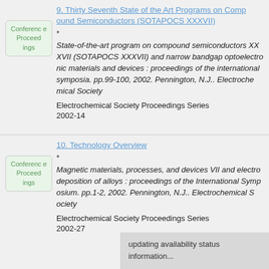9. Thirty Seventh State of the Art Programs on Compound Semiconductors (SOTAPOCS XXXVII)
*
State-of-the-art program on compound semiconductors XXVII (SOTAPOCS XXXVII) and narrow bandgap optoelectronic materials and devices : proceedings of the international symposia. pp.99-100, 2002. Pennington, N.J.. Electrochemical Society
Electrochemical Society Proceedings Series
2002-14
10. Technology Overview
*
Magnetic materials, processes, and devices VII and electrodeposition of alloys : proceedings of the International Symposium. pp.1-2, 2002. Pennington, N.J.. Electrochemical Society
Electrochemical Society Proceedings Series
2002-27
updating availability status information...